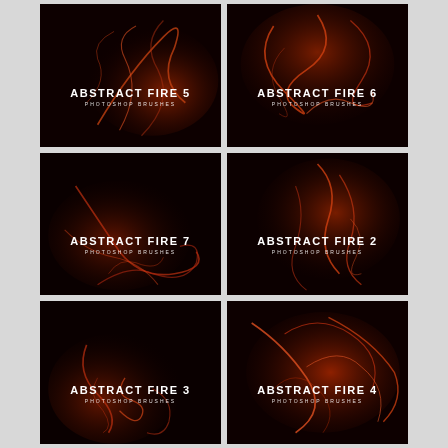[Figure (illustration): Abstract Fire 5 - dark background with red smoke swirls, Photoshop Brushes preview]
[Figure (illustration): Abstract Fire 6 - dark background with red smoke swirls, Photoshop Brushes preview]
[Figure (illustration): Abstract Fire 7 - dark background with red smoke swirls, Photoshop Brushes preview]
[Figure (illustration): Abstract Fire 2 - dark background with red smoke swirls, Photoshop Brushes preview]
[Figure (illustration): Abstract Fire 3 - dark background with red smoke swirls, Photoshop Brushes preview]
[Figure (illustration): Abstract Fire 4 - dark background with red smoke swirls, Photoshop Brushes preview]